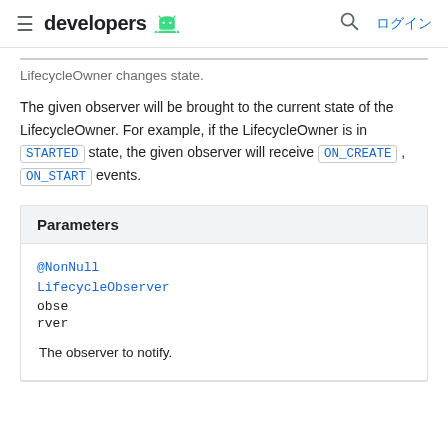developers [Android logo] ログイン
Adds a LifecycleObserver that will be notified when the LifecycleOwner changes state.
The given observer will be brought to the current state of the LifecycleOwner. For example, if the LifecycleOwner is in STARTED state, the given observer will receive ON_CREATE , ON_START events.
| Parameters |
| --- |
| @NonNull LifecycleObserver observer | The observer to notify. |
The observer to notify.